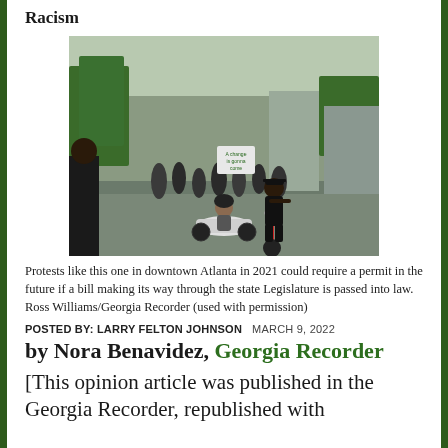Racism
[Figure (photo): A protest march in downtown Atlanta in 2021. A young child rides a small electric vehicle while an adult man stands beside on a scooter. Protesters carry signs in the background, including one reading 'A Change is Gonna Come'. Trees and city buildings are visible.]
Protests like this one in downtown Atlanta in 2021 could require a permit in the future if a bill making its way through the state Legislature is passed into law. Ross Williams/Georgia Recorder (used with permission)
POSTED BY: LARRY FELTON JOHNSON   MARCH 9, 2022
by Nora Benavidez, Georgia Recorder
[This opinion article was published in the Georgia Recorder, republished with